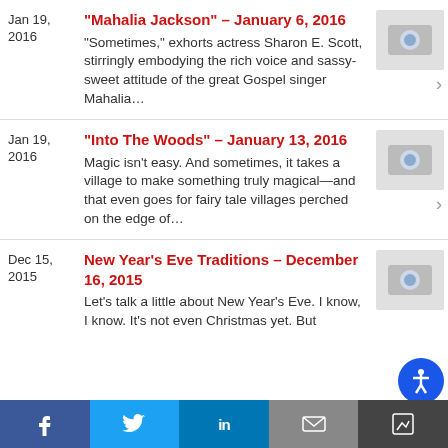Jan 19, 2016 | "Mahalia Jackson" – January 6, 2016 | "Sometimes," exhorts actress Sharon E. Scott, stirringly embodying the rich voice and sassy-sweet attitude of the great Gospel singer Mahalia...
Jan 19, 2016 | "Into The Woods" – January 13, 2016 | Magic isn't easy. And sometimes, it takes a village to make something truly magical—and that even goes for fairy tale villages perched on the edge of...
Dec 15, 2015 | New Year's Eve Traditions – December 16, 2015 | Let's talk a little about New Year's Eve. I know, I know. It's not even Christmas yet. But
f | Twitter bird | in | envelope | accessibility icon